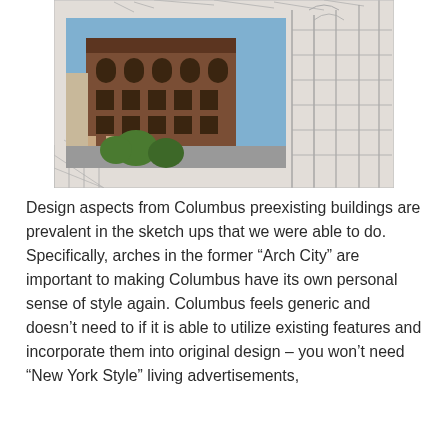[Figure (illustration): Composite image showing a photograph of a historic multi-story brick building in Columbus overlaid on an architectural pencil sketch of building facades and structural elements.]
Design aspects from Columbus preexisting buildings are prevalent in the sketch ups that we were able to do. Specifically, arches in the former “Arch City” are important to making Columbus have its own personal sense of style again. Columbus feels generic and doesn’t need to if it is able to utilize existing features and incorporate them into original design – you won’t need “New York Style” living advertisements,